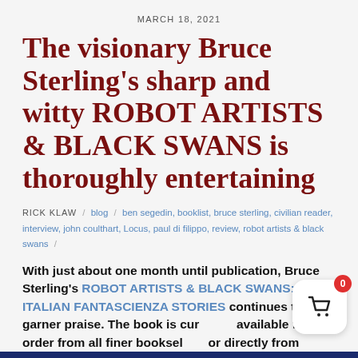MARCH 18, 2021
The visionary Bruce Sterling's sharp and witty ROBOT ARTISTS & BLACK SWANS is thoroughly entertaining
RICK KLAW / blog / ben segedin, booklist, bruce sterling, civilian reader, interview, john coulthart, Locus, paul di filippo, review, robot artists & black swans /
With just about one month until publication, Bruce Sterling's ROBOT ARTISTS & BLACK SWANS: THE ITALIAN FANTASCIENZA STORIES continues to garner praise. The book is currently available for pre-order from all finer booksellers or directly from Tachyon.